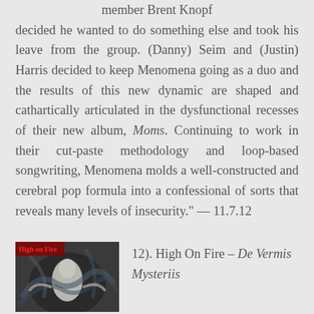member Brent Knopf decided he wanted to do something else and took his leave from the group. (Danny) Seim and (Justin) Harris decided to keep Menomena going as a duo and the results of this new dynamic are shaped and cathartically articulated in the dysfunctional recesses of their new album, Moms. Continuing to work in their cut-paste methodology and loop-based songwriting, Menomena molds a well-constructed and cerebral pop formula into a confessional of sorts that reveals many levels of insecurity." — 11.7.12
[Figure (photo): Album cover for High On Fire - De Vermis Mysteriis, showing intricate dark fantasy artwork with a white figure and swirling patterns, with 'High on Fire' text in red at the top left]
12). High On Fire – De Vermis Mysteriis